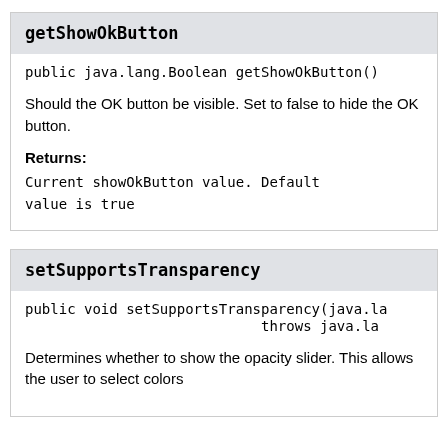getShowOkButton
public java.lang.Boolean getShowOkButton()
Should the OK button be visible. Set to false to hide the OK button.
Returns:
Current showOkButton value. Default value is true
setSupportsTransparency
public void setSupportsTransparency(java.la throws java.la
Determines whether to show the opacity slider. This allows the user to select colors with an alpha transparency value.